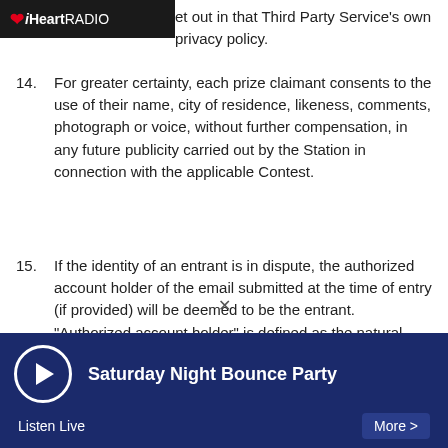iHeartRADIO
et out in that Third Party Service's own privacy policy.
14. For greater certainty, each prize claimant consents to the use of their name, city of residence, likeness, comments, photograph or voice, without further compensation, in any future publicity carried out by the Station in connection with the applicable Contest.
15. If the identity of an entrant is in dispute, the authorized account holder of the email submitted at the time of entry (if provided) will be deemed to be the entrant. "Authorized account holder" is defined as the natural person who is assigned to an e-mail address by an internet access provider, on-line service provider, or other organization (e.g. business, educational institution, etc.) that is responsible for assigning e-
Saturday Night Bounce Party | Listen Live | More >